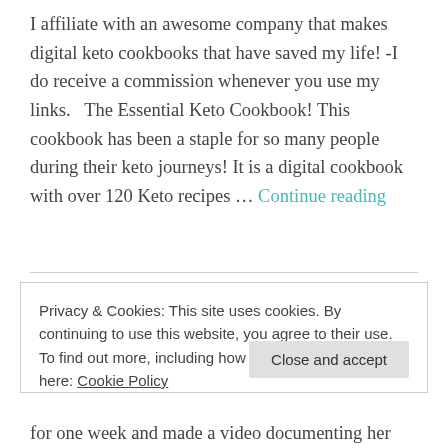I affiliate with an awesome company that makes digital keto cookbooks that have saved my life! -I do receive a commission whenever you use my links.   The Essential Keto Cookbook! This cookbook has been a staple for so many people during their keto journeys! It is a digital cookbook with over 120 Keto recipes … Continue reading
Privacy & Cookies: This site uses cookies. By continuing to use this website, you agree to their use.
To find out more, including how to control cookies, see here: Cookie Policy
Close and accept
for one week and made a video documenting her